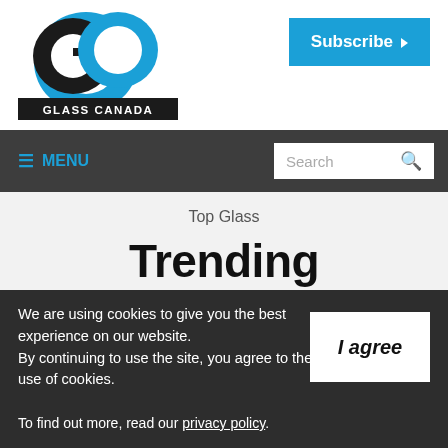[Figure (logo): Glass Canada GC logo with blue and black letters and 'GLASS CANADA' text in black bar below]
[Figure (other): Subscribe button in blue with dropdown arrow]
≡ MENU | Search
Top Glass
Trending
CORONAVIRUS ROUNDUP
We are using cookies to give you the best experience on our website. By continuing to use the site, you agree to the use of cookies. To find out more, read our privacy policy.
[Figure (other): I agree button in white box]